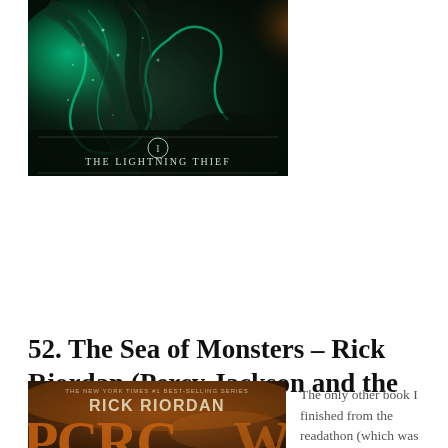[Figure (photo): Book cover of 'The Lightning Thief' (Percy Jackson and the Olympians Book 1) by Rick Riordan. Dark fantasy cover with swirling green and teal magical elements, featuring a large serpentine figure and text 'I THE LIGHTNING THIEF' at the bottom.]
52. The Sea of Monsters – Rick Riordan (Percy Jackson and the Olympians Book #2)
[Figure (photo): Partial book cover of 'Percy Jackson and the Olympians' by Rick Riordan, showing 'THE NEW YORK TIMES #1 BEST-SELLING SERIES', 'RICK RIORDAN', and the beginning of large text 'PCRC...' in orange and brown tones.]
The only other book I finished from the readathon (which was